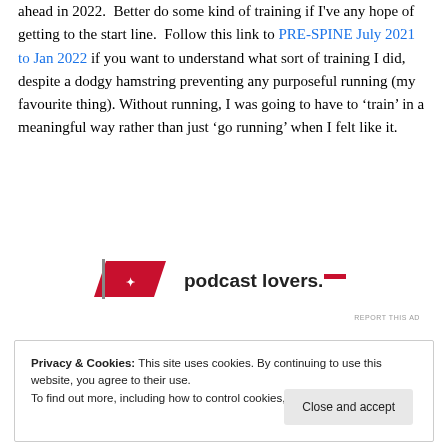ahead in 2022.  Better do some kind of training if I've any hope of getting to the start line.  Follow this link to PRE-SPINE July 2021 to Jan 2022 if you want to understand what sort of training I did, despite a dodgy hamstring preventing any purposeful running (my favourite thing). Without running, I was going to have to 'train' in a meaningful way rather than just 'go running' when I felt like it.
[Figure (other): Advertisement banner showing a podcast lovers logo with a red flag icon and text 'podcast lovers.' in bold]
Privacy & Cookies: This site uses cookies. By continuing to use this website, you agree to their use. To find out more, including how to control cookies, see here: Cookie Policy